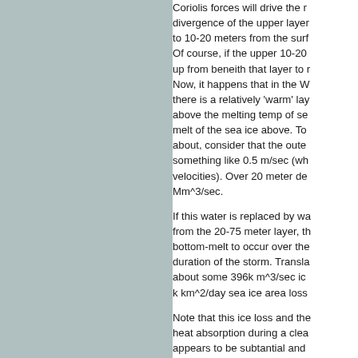[Figure (other): Gray panel occupying the left portion of the page, likely a figure or image placeholder]
Coriolis forces will drive the r... divergence of the upper layer... to 10-20 meters from the surf... Of course, if the upper 10-20... up from beneith that layer to r... Now, it happens that in the W... there is a relatively 'warm' lay... above the melting temp of se... melt of the sea ice above. To... about, consider that the oute... something like 0.5 m/sec (wh... velocities). Over 20 meter de... Mm^3/sec.

If this water is replaced by wa... from the 20-75 meter layer, th... bottom-melt to occur over the... duration of the storm. Transla... about some 396k m^3/sec ic... k km^2/day sea ice area loss...

Note that this ice loss and the... heat absorption during a clea... appears to be subtantial and ... late summer storms.